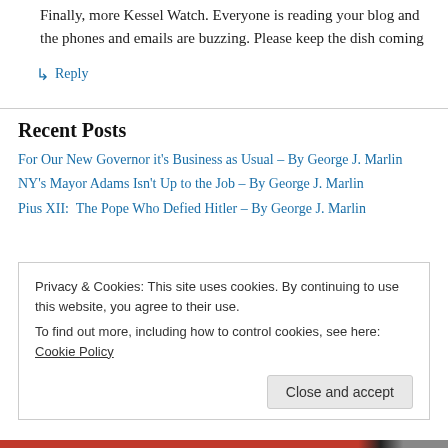Finally, more Kessel Watch. Everyone is reading your blog and the phones and emails are buzzing. Please keep the dish coming
↳ Reply
Recent Posts
For Our New Governor it's Business as Usual – By George J. Marlin
NY's Mayor Adams Isn't Up to the Job – By George J. Marlin
Pius XII:  The Pope Who Defied Hitler – By George J. Marlin
Privacy & Cookies: This site uses cookies. By continuing to use this website, you agree to their use. To find out more, including how to control cookies, see here: Cookie Policy
Close and accept